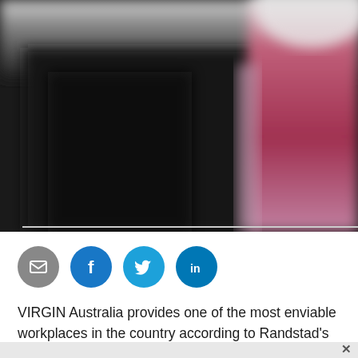[Figure (photo): Blurred photograph showing dark and crimson/magenta tones, likely depicting people in dark and red clothing in an out-of-focus setting.]
[Figure (infographic): Row of four social media icon circles: email (grey), Facebook (blue), Twitter (light blue), LinkedIn (dark blue).]
VIRGIN Australia provides one of the most enviable workplaces in the country according to Randstad's annual employer branding research.